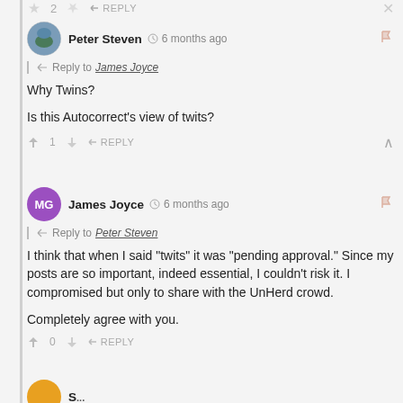👍 2  👎  ➤ REPLY  ✕ (partial top bar)
Peter Steven · 6 months ago · Reply to James Joyce · Why Twins?

Is this Autocorrect's view of twits?

👍 1  👎  ➤ REPLY  ∧
James Joyce · 6 months ago · Reply to Peter Steven · I think that when I said "twits" it was "pending approval." Since my posts are so important, indeed essential, I couldn't risk it. I compromised but only to share with the UnHerd crowd.

Completely agree with you.

👍 0  👎  ➤ REPLY
(partial avatar at bottom)